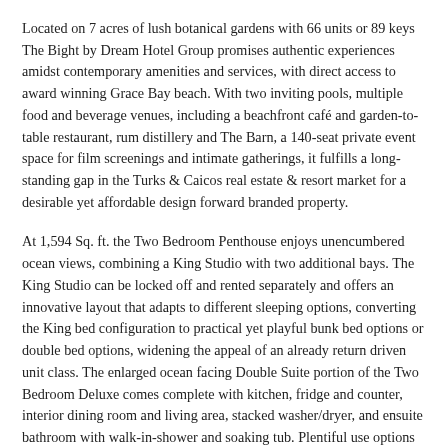Located on 7 acres of lush botanical gardens with 66 units or 89 keys The Bight by Dream Hotel Group promises authentic experiences amidst contemporary amenities and services, with direct access to award winning Grace Bay beach. With two inviting pools, multiple food and beverage venues, including a beachfront café and garden-to-table restaurant, rum distillery and The Barn, a 140-seat private event space for film screenings and intimate gatherings, it fulfills a long-standing gap in the Turks & Caicos real estate & resort market for a desirable yet affordable design forward branded property.
At 1,594 Sq. ft. the Two Bedroom Penthouse enjoys unencumbered ocean views, combining a King Studio with two additional bays. The King Studio can be locked off and rented separately and offers an innovative layout that adapts to different sleeping options, converting the King bed configuration to practical yet playful bunk bed options or double bed options, widening the appeal of an already return driven unit class. The enlarged ocean facing Double Suite portion of the Two Bedroom Deluxe comes complete with kitchen, fridge and counter, interior dining room and living area, stacked washer/dryer, and ensuite bathroom with walk-in-shower and soaking tub. Plentiful use options and sleeping capacity without sacrificing divisibility or the residential element.